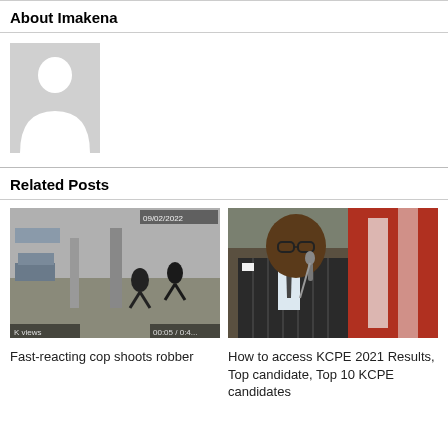About Imakena
[Figure (illustration): Default avatar silhouette placeholder image — grey background with white person silhouette]
Related Posts
[Figure (photo): CCTV footage screenshot of airport or large indoor space showing people running, security camera timestamp visible]
Fast-reacting cop shoots robber
[Figure (photo): Photo of a man in a pinstripe suit speaking at a microphone at an outdoor event with red and white decorations in background]
How to access KCPE 2021 Results, Top candidate, Top 10 KCPE candidates